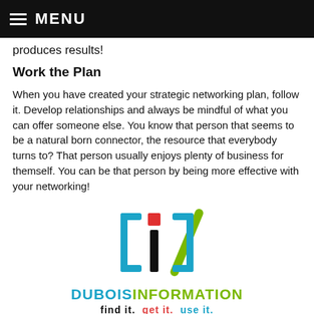MENU
produces results!
Work the Plan
When you have created your strategic networking plan, follow it. Develop relationships and always be mindful of what you can offer someone else. You know that person that seems to be a natural born connector, the resource that everybody turns to? That person usually enjoys plenty of business for themself. You can be that person by being more effective with your networking!
[Figure (logo): DuboisInformation logo with bracket and slash graphic, and text DUBOISINFORMATION find it. get it. use it.]
…DuboisInformation…